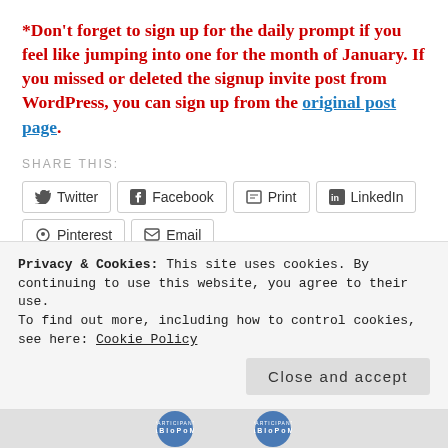*Don't forget to sign up for the daily prompt if you feel like jumping into one for the month of January. If you missed or deleted the signup invite post from WordPress, you can sign up from the original post page.
SHARE THIS:
Twitter | Facebook | Print | LinkedIn | Pinterest | Email
[Figure (other): Like button row with user avatars]
Privacy & Cookies: This site uses cookies. By continuing to use this website, you agree to their use.
To find out more, including how to control cookies, see here: Cookie Policy
Close and accept